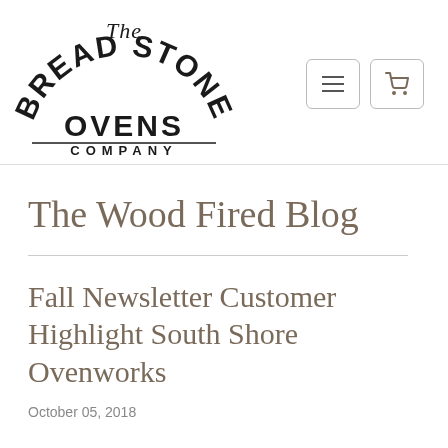The Bread Stone Ovens Company
The Wood Fired Blog
Fall Newsletter Customer Highlight South Shore Ovenworks
October 05, 2018